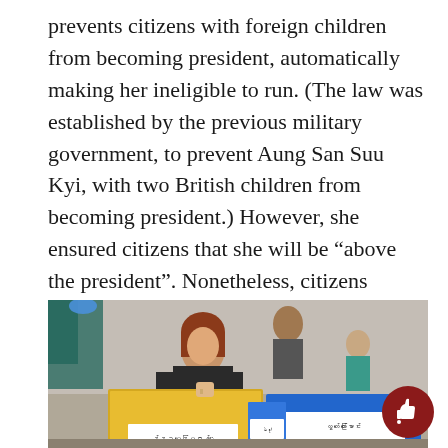prevents citizens with foreign children from becoming president, automatically making her ineligible to run. (The law was established by the previous military government, to prevent Aung San Suu Kyi, with two British children from becoming president.) However, she ensured citizens that she will be “above the president”. Nonetheless, citizens believed that the leadership of the NLD will bring about significant education and healthcare reforms.
[Figure (photo): A woman with reddish-brown hair in a black top casting a ballot into a box at a polling station. Blue ballot boxes with Burmese script labels are visible. A man and a child are in the background.]